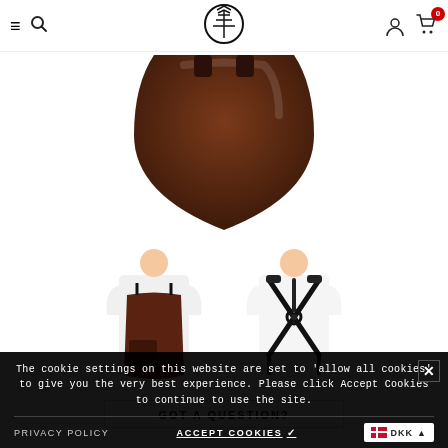Website header with hamburger menu, search icon, tree logo, user icon, and cart (0)
[Figure (photo): Close-up of a dark brown leather apron top, showing the bib and shoulder area against white background]
[Figure (photo): Front view of a person wearing a dark brown leather apron over a white shirt]
[Figure (photo): Back view of a person wearing black cross-strap harness over white shirt, showing the X-strap system of the apron]
GOT A QUESTION?
The cookie settings on this website are set to 'allow all cookies' to give you the very best experience. Please click Accept Cookies to continue to use the site.
PRIVACY POLICY   ACCEPT COOKIES ✓   DKK ▲
FREE SHIPPING